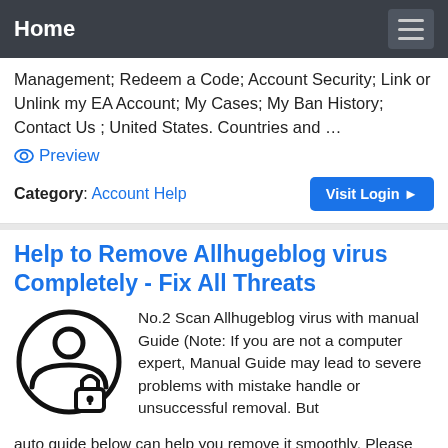Home
Management; Redeem a Code; Account Security; Link or Unlink my EA Account; My Cases; My Ban History; Contact Us ; United States. Countries and …
Preview
Category: Account Help
Visit Login ▶
Help to Remove Allhugeblog virus Completely - Fix All Threats
[Figure (illustration): A circular icon showing a person/user silhouette with a padlock, representing account security or virus protection.]
No.2 Scan Allhugeblog virus with manual Guide (Note: If you are not a computer expert, Manual Guide may lead to severe problems with mistake handle or unsuccessful removal. But auto guide below can help you remove it smoothly. Please